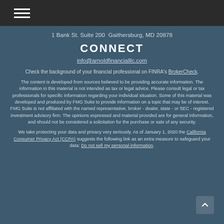Navigation menu
1 Bank St. Suite 200  Gaithersburg, MD 20878
CONNECT
info@arnoldfinancialllc.com
Check the background of your financial professional on FINRA's BrokerCheck.
The content is developed from sources believed to be providing accurate information. The information in this material is not intended as tax or legal advice. Please consult legal or tax professionals for specific information regarding your individual situation. Some of this material was developed and produced by FMG Suite to provide information on a topic that may be of interest. FMG Suite is not affiliated with the named representative, broker - dealer, state - or SEC - registered investment advisory firm. The opinions expressed and material provided are for general information, and should not be considered a solicitation for the purchase or sale of any security.
We take protecting your data and privacy very seriously. As of January 1, 2020 the California Consumer Privacy Act (CCPA) suggests the following link as an extra measure to safeguard your data: Do not sell my personal information.